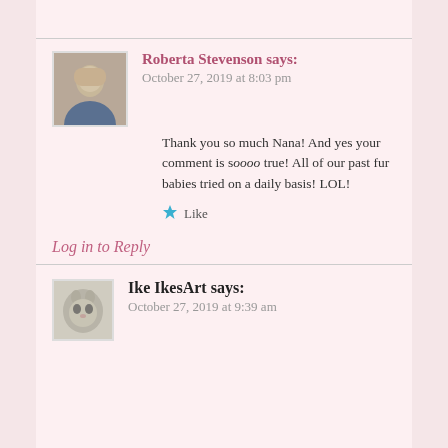Roberta Stevenson says:
October 27, 2019 at 8:03 pm
Thank you so much Nana! And yes your comment is soooo true! All of our past fur babies tried on a daily basis! LOL!
Like
Log in to Reply
Ike IkesArt says:
October 27, 2019 at 9:39 am